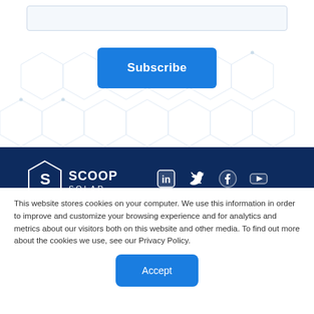[Figure (screenshot): Email input text field with light blue border and background]
[Figure (other): Subscribe button - blue rounded rectangle with white text 'Subscribe']
[Figure (logo): Scoop Solar logo with hexagon S icon and text 'SCOOP SOLAR', alongside LinkedIn, Twitter, Facebook, and YouTube social media icons on a dark navy background]
This website stores cookies on your computer. We use this information in order to improve and customize your browsing experience and for analytics and metrics about our visitors both on this website and other media. To find out more about the cookies we use, see our Privacy Policy.
[Figure (other): Accept button - blue rounded rectangle with white text 'Accept']